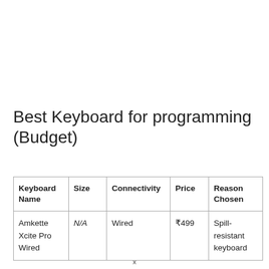Best Keyboard for programming (Budget)
| Keyboard Name | Size | Connectivity | Price | Reason Chosen |
| --- | --- | --- | --- | --- |
| Amkette Xcite Pro Wired | N/A | Wired | ₹499 | Spill-resistant keyboard |
x